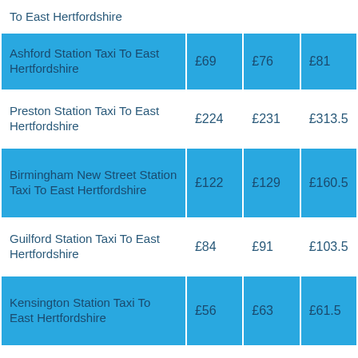| To East Hertfordshire |  |  |  |
| Ashford Station Taxi To East Hertfordshire | £69 | £76 | £81 |
| Preston Station Taxi To East Hertfordshire | £224 | £231 | £313.5 |
| Birmingham New Street Station Taxi To East Hertfordshire | £122 | £129 | £160.5 |
| Guilford Station Taxi To East Hertfordshire | £84 | £91 | £103.5 |
| Kensington Station Taxi To East Hertfordshire | £56 | £63 | £61.5 |
| Ebbsfleet Station Taxi To East Hertfordshire | £75 | £65 | £72 |
| Stratford Station Taxi To East Hertfordshire | £54 | £61 | £58.5 |
| Inswich Station Taxi To | £15 | £22 | £0 |